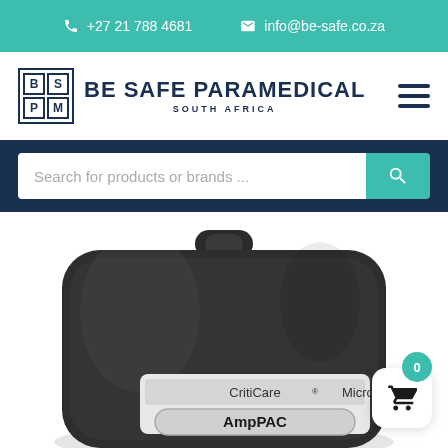☎ +27 21 788 4681   ✉ info@be-safe.co.za
[Figure (logo): Be Safe Paramedical South Africa logo with BSPM grid icon and company name]
Search for products or brands ...
[Figure (photo): Dark charcoal CritiCare Micro Drug Bag labeled AmpPAC with carry handle, photographed from above at slight angle]